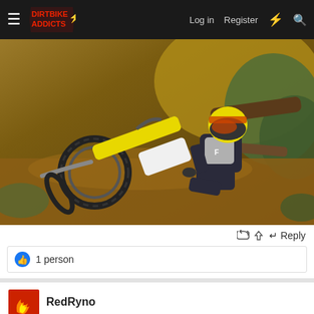DIRTBIKE ADDICTS — Log in  Register
[Figure (photo): A dirt bike rider in full gear (helmet, jersey, gloves) has fallen on a steep muddy hillside trail. The yellow and white dirt bike is tipped over on the brown soil, surrounded by fallen logs and green brush.]
↩ Reply
👍 1 person
RedRyno